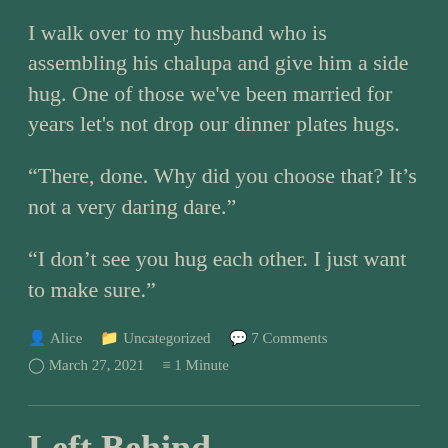I walk over to my husband who is assembling his chalupa and give him a side hug. One of those we've been married for years let's not drop our dinner plates hugs.
“There, done. Why did you choose that? It’s not a very daring dare.”
“I don’t see you hug each other. I just want to make sure.”
Alice   Uncategorized   7 Comments
March 27, 2021   1 Minute
Left Behind